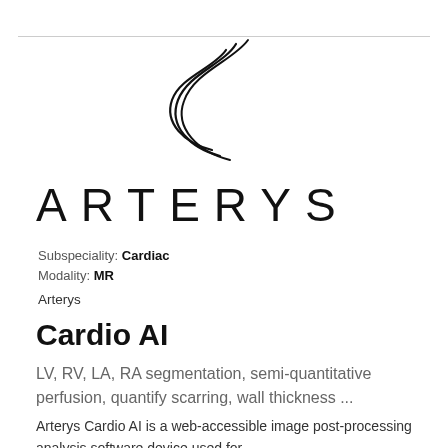[Figure (logo): Arterys logo — a stylized S-curve with three parallel curved lines, resembling flowing ribbon or fluid motion, in black outline on white background]
ARTERYS
Subspeciality: Cardiac
Modality: MR
Arterys
Cardio AI
LV, RV, LA, RA segmentation, semi-quantitative perfusion, quantify scarring, wall thickness ...
Arterys Cardio AI is a web-accessible image post-processing analysis software device used for